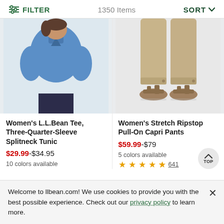FILTER | 1350 Items | SORT
[Figure (photo): Woman wearing blue three-quarter sleeve splitneck tunic top, shown from mid-torso up]
[Figure (photo): Woman's legs wearing khaki stretch ripstop pull-on capri pants with sandals, shown from waist down]
Women's L.L.Bean Tee, Three-Quarter-Sleeve Splitneck Tunic
$29.99-$34.95
10 colors available
Women's Stretch Ripstop Pull-On Capri Pants
$59.99-$79
5 colors available
★★★★½ 641
Welcome to llbean.com! We use cookies to provide you with the best possible experience. Check out our privacy policy to learn more.